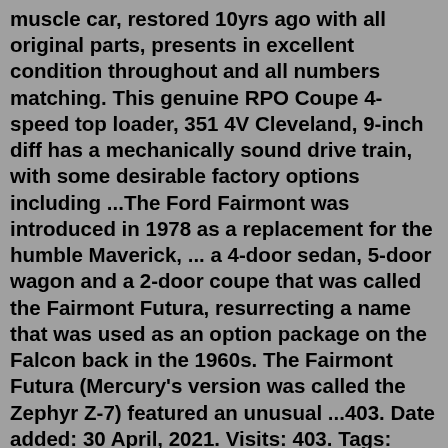muscle car, restored 10yrs ago with all original parts, presents in excellent condition throughout and all numbers matching. This genuine RPO Coupe 4-speed top loader, 351 4V Cleveland, 9-inch diff has a mechanically sound drive train, with some desirable factory options including ...The Ford Fairmont was introduced in 1978 as a replacement for the humble Maverick, ... a 4-door sedan, 5-door wagon and a 2-door coupe that was called the Fairmont Futura, resurrecting a name that was used as an option package on the Falcon back in the 1960s. The Fairmont Futura (Mercury's version was called the Zephyr Z-7) featured an unusual ...403. Date added: 30 April, 2021. Visits: 403. Tags: Ford, Ford Fairmont, Fox Body Fairmont/Zephyr. 1978 Ford Fairmont Futura Coupe. Engine: 302 cu in (4.95 L) Windsor V8, 3-speed Automatic Transmission. Source: Craigslist. 1978 Ford Fairmont Futura Coupe. Log In Sign Up to write a comment.The Fairmont (and Zephyr) were the first Ford models to